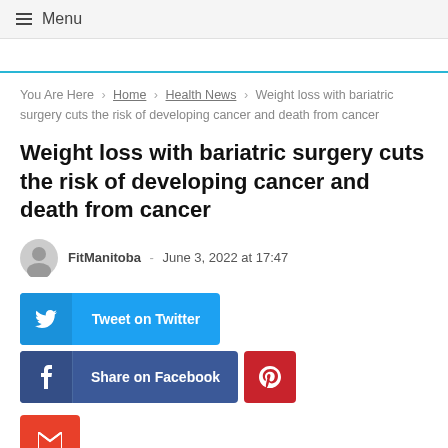≡ Menu
You Are Here > Home > Health News > Weight loss with bariatric surgery cuts the risk of developing cancer and death from cancer
Weight loss with bariatric surgery cuts the risk of developing cancer and death from cancer
FitManitoba - June 3, 2022 at 17:47
Tweet on Twitter | Share on Facebook | Pinterest | Email